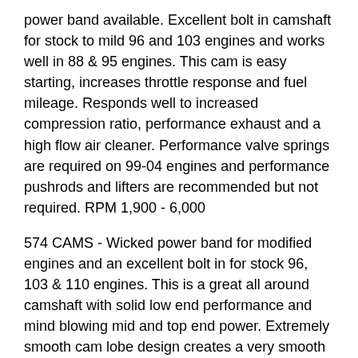power band available. Excellent bolt in camshaft for stock to mild 96 and 103 engines and works well in 88 & 95 engines. This cam is easy starting, increases throttle response and fuel mileage. Responds well to increased compression ratio, performance exhaust and a high flow air cleaner. Performance valve springs are required on 99-04 engines and performance pushrods and lifters are recommended but not required. RPM 1,900 - 6,000
574 CAMS - Wicked power band for modified engines and an excellent bolt in for stock 96, 103 & 110 engines. This is a great all around camshaft with solid low end performance and mind blowing mid and top end power. Extremely smooth cam lobe design creates a very smooth valve-train motion. Responds very well to modified cylinder heads,